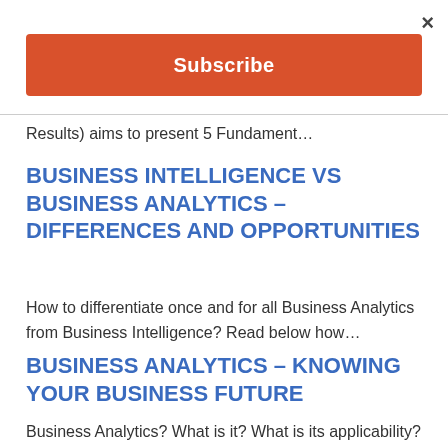[Figure (other): Close button (×) in top right corner of modal]
[Figure (other): Orange Subscribe button/banner]
Results) aims to present 5 Fundament…
BUSINESS INTELLIGENCE VS BUSINESS ANALYTICS – DIFFERENCES AND OPPORTUNITIES
How to differentiate once and for all Business Analytics from Business Intelligence? Read below how…
BUSINESS ANALYTICS – KNOWING YOUR BUSINESS FUTURE
Business Analytics? What is it? What is its applicability? Learn how data can foresee the future wit…